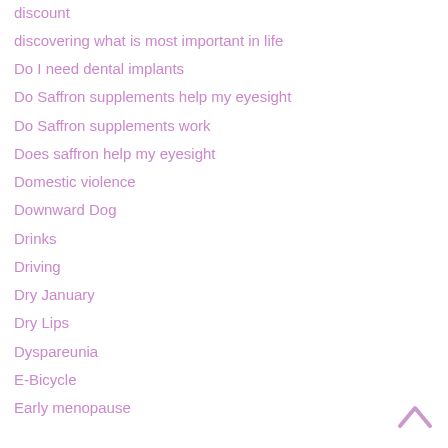discount
discovering what is most important in life
Do I need dental implants
Do Saffron supplements help my eyesight
Do Saffron supplements work
Does saffron help my eyesight
Domestic violence
Downward Dog
Drinks
Driving
Dry January
Dry Lips
Dyspareunia
E-Bicycle
Early menopause